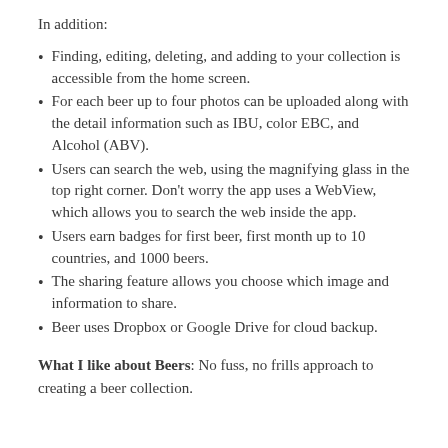In addition:
Finding, editing, deleting, and adding to your collection is accessible from the home screen.
For each beer up to four photos can be uploaded along with the detail information such as IBU, color EBC, and Alcohol (ABV).
Users can search the web, using the magnifying glass in the top right corner. Don't worry the app uses a WebView, which allows you to search the web inside the app.
Users earn badges for first beer, first month up to 10 countries, and 1000 beers.
The sharing feature allows you choose which image and information to share.
Beer uses Dropbox or Google Drive for cloud backup.
What I like about Beers: No fuss, no frills approach to creating a beer collection.